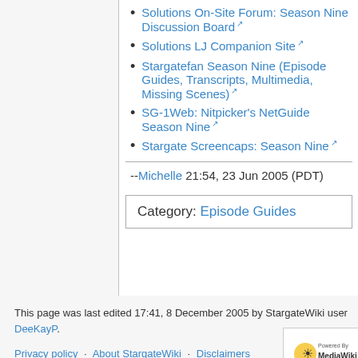Solutions On-Site Forum: Season Nine Discussion Board
Solutions LJ Companion Site
Stargatefan Season Nine (Episode Guides, Transcripts, Multimedia, Missing Scenes)
SG-1Web: Nitpicker's NetGuide Season Nine
Stargate Screencaps: Season Nine
--Michelle 21:54, 23 Jun 2005 (PDT)
Category:  Episode Guides
This page was last edited 17:41, 8 December 2005 by StargateWiki user DeeKayP.
Privacy policy   About StargateWiki   Disclaimers